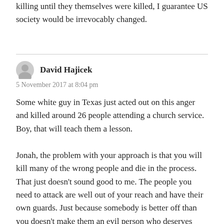killing until they themselves were killed, I guarantee US society would be irrevocably changed.
David Hajicek
5 November 2017 at 8:04 pm
Some white guy in Texas just acted out on this anger and killed around 26 people attending a church service. Boy, that will teach them a lesson.
Jonah, the problem with your approach is that you will kill many of the wrong people and die in the process. That just doesn’t sound good to me. The people you need to attack are well out of your reach and have their own guards. Just because somebody is better off than you doesn’t make them an evil person who deserves death.